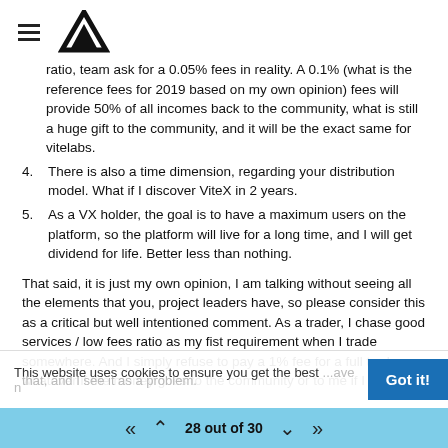≡ [logo]
ratio, team ask for a 0.05% fees in reality. A 0.1% (what is the reference fees for 2019 based on my own opinion) fees will provide 50% of all incomes back to the community, what is still a huge gift to the community, and it will be the exact same for vitelabs.
4. There is also a time dimension, regarding your distribution model. What if I discover ViteX in 2 years.
5. As a VX holder, the goal is to have a maximum users on the platform, so the platform will live for a long time, and I will get dividend for life. Better less than nothing.
That said, it is just my own opinion, I am talking without seeing all the elements that you, project leaders have, so please consider this as a critical but well intentioned comment. As a trader, I chase good services / low fees ratio as my fist requirement when I trade somewhere. And I simply refuse to pay a 1% fee for a full trade, whatever if the money goes to the community or to me if I play a
This website uses cookies to ensure you get the best
that, and I see it as a problem.
28 out of 30